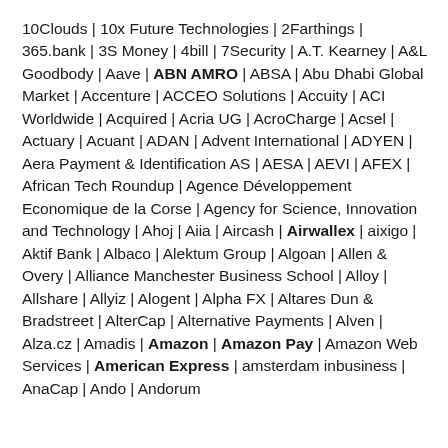10Clouds | 10x Future Technologies | 2Farthings | 365.bank | 3S Money | 4bill | 7Security | A.T. Kearney | A&L Goodbody | Aave | ABN AMRO | ABSA | Abu Dhabi Global Market | Accenture | ACCEO Solutions | Accuity | ACI Worldwide | Acquired | Acria UG | AcroCharge | Acsel | Actuary | Acuant | ADAN | Advent International | ADYEN | Aera Payment & Identification AS | AESA | AEVI | AFEX | African Tech Roundup | Agence Développement Economique de la Corse | Agency for Science, Innovation and Technology | Ahoj | Aiia | Aircash | Airwallex | aixigo | Aktif Bank | Albaco | Alektum Group | Algoan | Allen & Overy | Alliance Manchester Business School | Alloy | Allshare | Allyiz | Alogent | Alpha FX | Altares Dun & Bradstreet | AlterCap | Alternative Payments | Alven | Alza.cz | Amadis | Amazon | Amazon Pay | Amazon Web Services | American Express | amsterdam inbusiness | AnaCap | Ando | Andorum